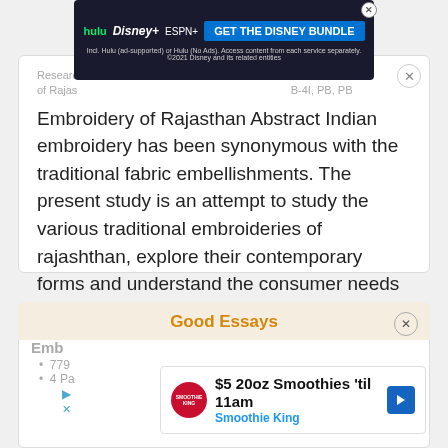[Figure (screenshot): Disney Bundle advertisement banner with Hulu, Disney+ and ESPN+ logos and GET THE DISNEY BUNDLE button]
Research ... series of Rajasthan Submitted by: Ropar taya PB-4I, PB, PB Embroidery of Rajasthan Abstract Indian embroidery has been synonymous with the traditional fabric embellishments. The present study is an attempt to study the various traditional embroideries of rajashthan, explore their contemporary forms and understand the consumer needs and…
Read More
Good Essays
Emb
779
4 Pa
[Figure (screenshot): Smoothie King advertisement: $5 20oz Smoothies 'til 11am with Smoothie King logo and navigation arrow]